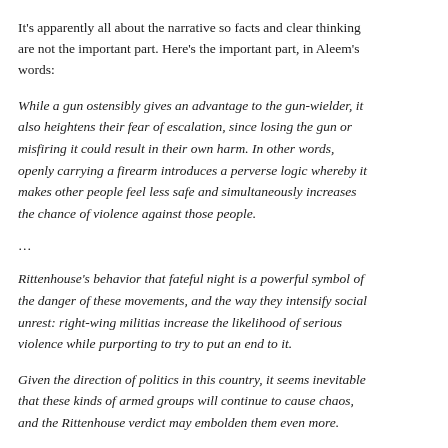It's apparently all about the narrative so facts and clear thinking are not the important part. Here's the important part, in Aleem's words:
While a gun ostensibly gives an advantage to the gun-wielder, it also heightens their fear of escalation, since losing the gun or misfiring it could result in their own harm. In other words, openly carrying a firearm introduces a perverse logic whereby it makes other people feel less safe and simultaneously increases the chance of violence against those people.
…
Rittenhouse's behavior that fateful night is a powerful symbol of the danger of these movements, and the way they intensify social unrest: right-wing militias increase the likelihood of serious violence while purporting to try to put an end to it.
Given the direction of politics in this country, it seems inevitable that these kinds of armed groups will continue to cause chaos, and the Rittenhouse verdict may embolden them even more.